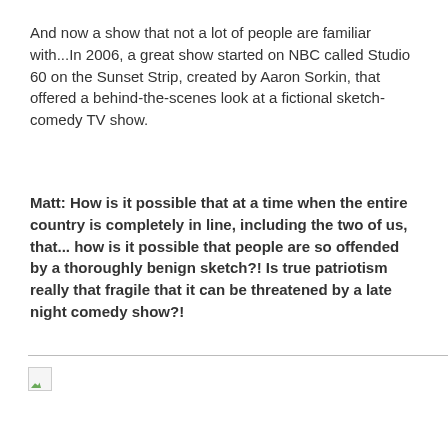And now a show that not a lot of people are familiar with...In 2006, a great show started on NBC called Studio 60 on the Sunset Strip, created by Aaron Sorkin, that offered a behind-the-scenes look at a fictional sketch-comedy TV show.
Matt: How is it possible that at a time when the entire country is completely in line, including the two of us, that... how is it possible that people are so offended by a thoroughly benign sketch?! Is true patriotism really that fragile that it can be threatened by a late night comedy show?!
[Figure (other): Broken image placeholder icon with a small green landscape icon in bottom-left corner, shown below a horizontal rule]